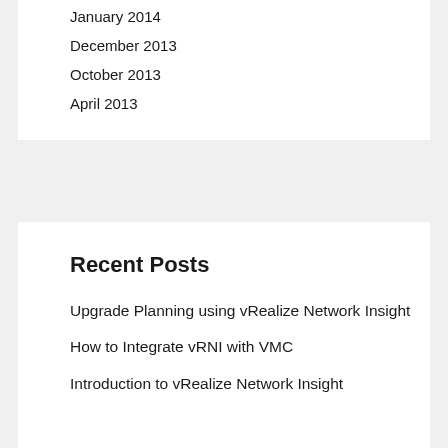January 2014
December 2013
October 2013
April 2013
Recent Posts
Upgrade Planning using vRealize Network Insight
How to Integrate vRNI with VMC
Introduction to vRealize Network Insight